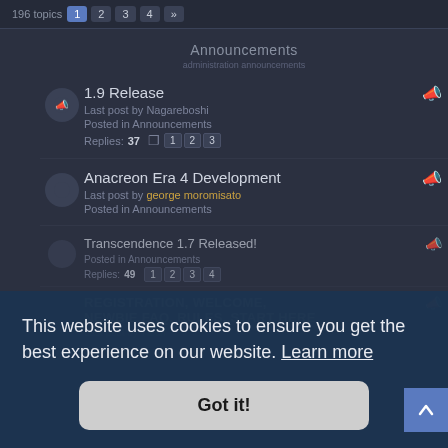196 topics  1  2  3  4  »
Announcements
1.9 Release
Last post by Nagareboshi
Posted in Announcements
Replies: 37  1  2  3
Anacreon Era 4 Development
Last post by george moromisato
Posted in Announcements
Transcendence 1.7 Released!
Posted in Announcements
Replies: 49  1  2  3  4
REGISTRATION, WELCOME, NEWBIE FAQ, RULES, START HERE
Last post by Ttech
This website uses cookies to ensure you get the best experience on our website. Learn more
Got it!